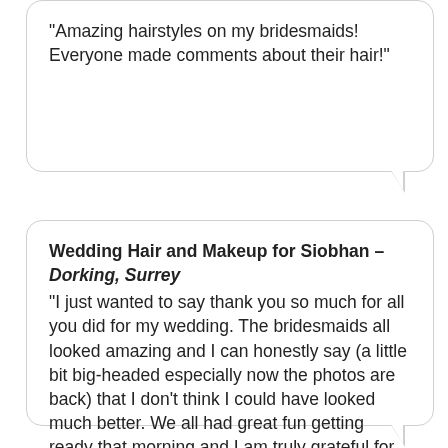“Amazing hairstyles on my bridesmaids! Everyone made comments about their hair!”
Wedding Hair and Makeup for Siobhan – Dorking, Surrey “I just wanted to say thank you so much for all you did for my wedding. The bridesmaids all looked amazing and I can honestly say (a little bit big-headed especially now the photos are back) that I don’t think I could have looked much better. We all had great fun getting ready that morning and I am truly grateful for your part in helping it all run smoothly (I think I was the first bride that had been early to the church!) Thanks again!”